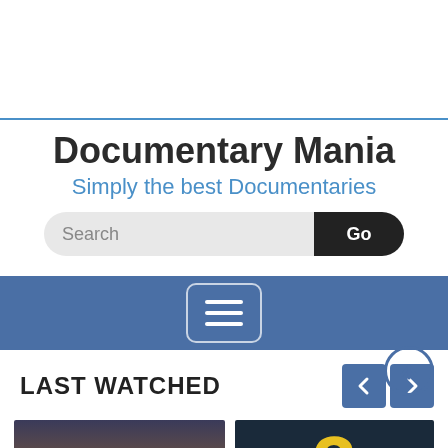Documentary Mania
Simply the best Documentaries
[Figure (screenshot): Search bar with text input and Go button]
[Figure (screenshot): Navigation bar with hamburger menu icon]
LAST WATCHED
[Figure (photo): Thumbnail of documentary: Michael Caine Invites You To Celebrate The 60s The Decade That Changed The World]
[Figure (photo): Thumbnail showing large yellow number 3 on dark background]